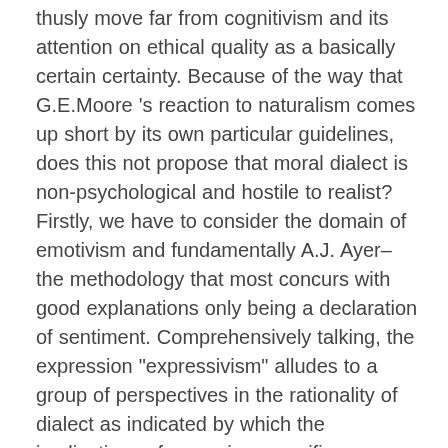thusly move far from cognitivism and its attention on ethical quality as a basically certain certainty. Because of the way that G.E.Moore 's reaction to naturalism comes up short by its own particular guidelines, does this not propose that moral dialect is non-psychological and hostile to realist? Firstly, we have to consider the domain of emotivism and fundamentally A.J. Ayer– the methodology that most concurs with good explanations only being a declaration of sentiment. Comprehensively talking, the expression "expressivism" alludes to a group of perspectives in the rationality of dialect as indicated by which the implications of cases in a specific range …show more content… For Stevenson, feelings are not as flighty and